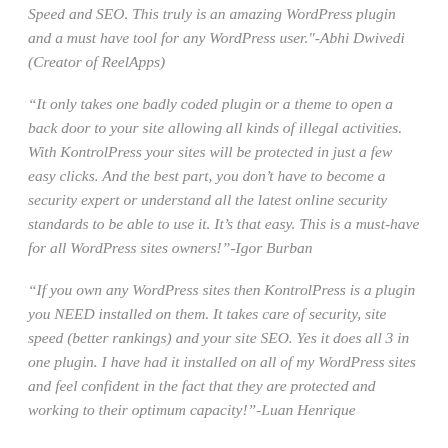Speed and SEO. This truly is an amazing WordPress plugin and a must have tool for any WordPress user."-Abhi Dwivedi (Creator of ReelApps)
"It only takes one badly coded plugin or a theme to open a back door to your site allowing all kinds of illegal activities. With KontrolPress your sites will be protected in just a few easy clicks. And the best part, you don't have to become a security expert or understand all the latest online security standards to be able to use it. It's that easy. This is a must-have for all WordPress sites owners!"-Igor Burban
"If you own any WordPress sites then KontrolPress is a plugin you NEED installed on them. It takes care of security, site speed (better rankings) and your site SEO. Yes it does all 3 in one plugin. I have had it installed on all of my WordPress sites and feel confident in the fact that they are protected and working to their optimum capacity!"-Luan Henrique